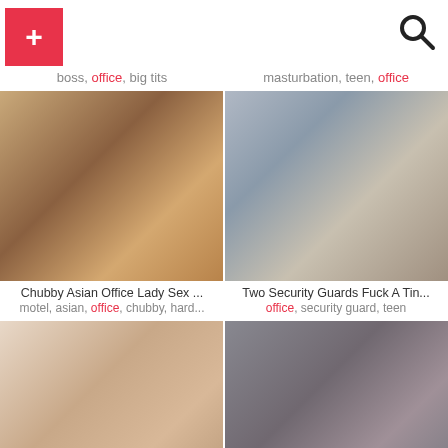+ [search icon]
boss, office, big tits
masturbation, teen, office
[Figure (photo): Thumbnail image left top]
[Figure (photo): Thumbnail image right top]
Chubby Asian Office Lady Sex ...
motel, asian, office, chubby, hard...
Two Security Guards Fuck A Tin...
office, security guard, teen
[Figure (photo): Thumbnail image left bottom]
[Figure (photo): Thumbnail image right bottom]